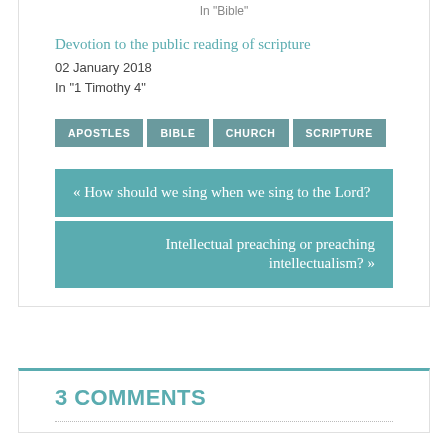In "Bible"
Devotion to the public reading of scripture
02 January 2018
In "1 Timothy 4"
APOSTLES
BIBLE
CHURCH
SCRIPTURE
« How should we sing when we sing to the Lord?
Intellectual preaching or preaching intellectualism? »
3 COMMENTS